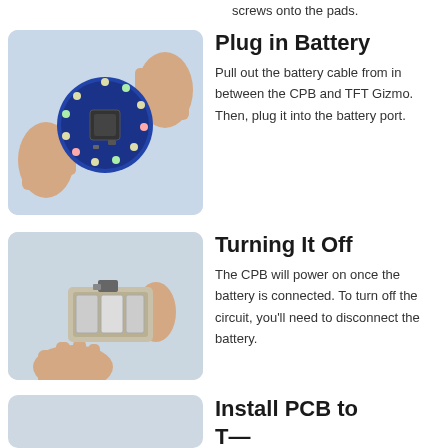screws onto the pads.
Plug in Battery
Pull out the battery cable from in between the CPB and TFT Gizmo. Then, plug it into the battery port.
[Figure (photo): Hands holding a circular CPB (Circuit Playground Bluefruit) board with TFT Gizmo attached, viewed from above on a light blue background.]
Turning It Off
The CPB will power on once the battery is connected. To turn off the circuit, you'll need to disconnect the battery.
[Figure (photo): Hands holding a small electronic device/battery assembly against a light blue background.]
Install PCB to
[Figure (photo): Partially visible photo with light blue background, bottom of page.]